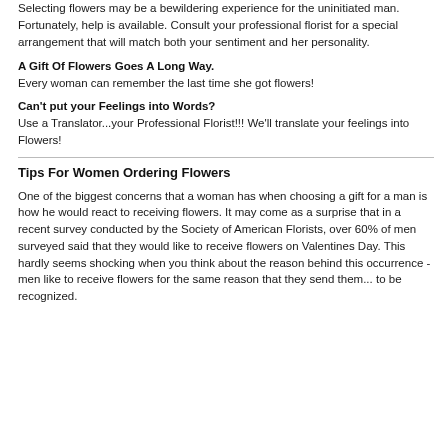Selecting flowers may be a bewildering experience for the uninitiated man. Fortunately, help is available. Consult your professional florist for a special arrangement that will match both your sentiment and her personality.
A Gift Of Flowers Goes A Long Way.
Every woman can remember the last time she got flowers!
Can't put your Feelings into Words?
Use a Translator...your Professional Florist!!! We'll translate your feelings into Flowers!
Tips For Women Ordering Flowers
One of the biggest concerns that a woman has when choosing a gift for a man is how he would react to receiving flowers. It may come as a surprise that in a recent survey conducted by the Society of American Florists, over 60% of men surveyed said that they would like to receive flowers on Valentines Day. This hardly seems shocking when you think about the reason behind this occurrence - men like to receive flowers for the same reason that they send them... to be recognized.